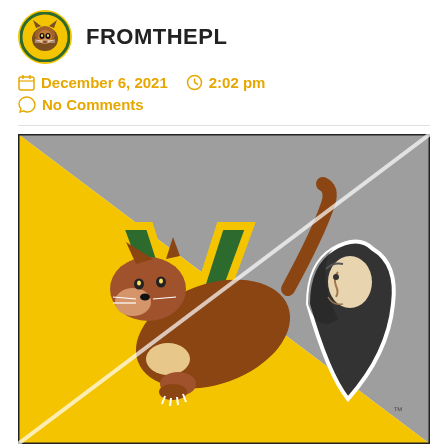FROMTHEPL
December 6, 2021   2:02 pm
No Comments
[Figure (illustration): Split diagonal matchup graphic: left half gold with University of Vermont Catamounts logo (green V with cougar leaping), right half gray with Providence Friars friar head logo]